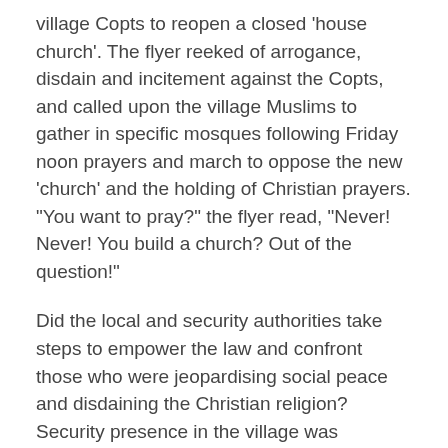village Copts to reopen a closed 'house church'. The flyer reeked of arrogance, disdain and incitement against the Copts, and called upon the village Muslims to gather in specific mosques following Friday noon prayers and march to oppose the new 'church' and the holding of Christian prayers. "You want to pray?" the flyer read, "Never! Never! You build a church? Out of the question!"
Did the local and security authorities take steps to empower the law and confront those who were jeopardising social peace and disdaining the Christian religion? Security presence in the village was intensified especially in the vicinity of the Copts' homes. But that was about all. Security officials bowed to the might of extremists, and attempted to humour them into 'consenting' to the opening of the closed down building that had once been used for Christian worship. But the extremists adamantly rejected that their